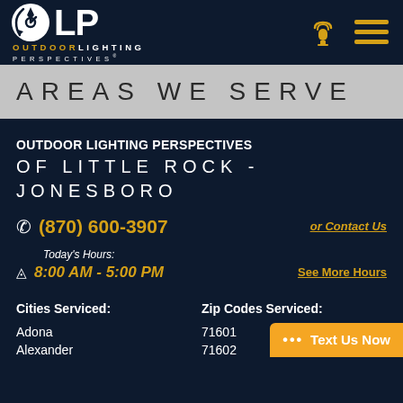[Figure (logo): Outdoor Lighting Perspectives (OLP) logo with circular arrow icon, company name in gold and white, and phone/menu icons in orange]
AREAS WE SERVE
OUTDOOR LIGHTING PERSPECTIVES OF LITTLE ROCK - JONESBORO
(870) 600-3907   or Contact Us
Today's Hours: 8:00 AM - 5:00 PM   See More Hours
Cities Serviced:   Zip Codes Serviced:   Adona   71601   Alexander   71602
••• Text Us Now